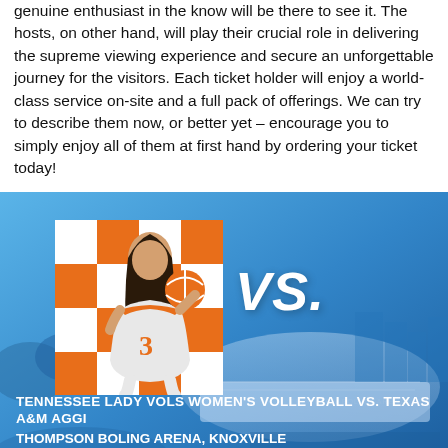genuine enthusiast in the know will be there to see it. The hosts, on other hand, will play their crucial role in delivering the supreme viewing experience and secure an unforgettable journey for the visitors. Each ticket holder will enjoy a world-class service on-site and a full pack of offerings. We can try to describe them now, or better yet – encourage you to simply enjoy all of them at first hand by ordering your ticket today!
[Figure (infographic): Event promotional banner with blue background showing arena aerial view. Left side has a photo of a volleyball player (#3) in orange and white Tennessee uniform against an orange checkered background. Center shows 'VS.' in large white italic bold text. Bottom section shows event details: 'TENNESSEE LADY VOLS WOMEN'S VOLLEYBALL VS. TEXAS A&M AGGI', 'THOMPSON BOLING ARENA, KNOXVILLE', '10/02/21', 'TICKETS AVAILABLE: UTKARENA.COM']